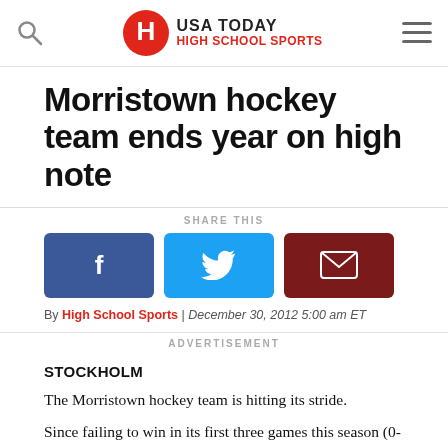USA TODAY HIGH SCHOOL SPORTS
Morristown hockey team ends year on high note
SHARE THIS
[Figure (infographic): Three share buttons: Facebook (blue), Twitter (cyan), Email (dark red)]
By High School Sports | December 30, 2012 5:00 am ET
ADVERTISEMENT
STOCKHOLM
The Morristown hockey team is hitting its stride.
Since failing to win in its first three games this season (0-